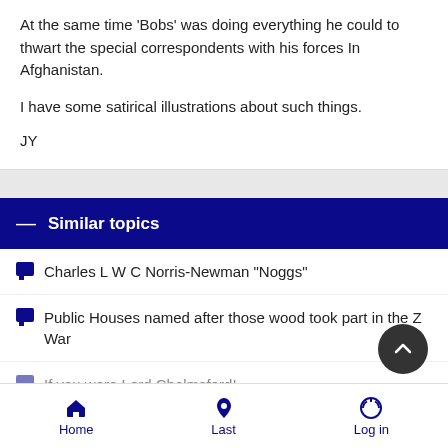At the same time 'Bobs' was doing everything he could to thwart the special correspondents with his forces In Afghanistan.
I have some satirical illustrations about such things.
JY
Similar topics
Charles L W C Norris-Newman "Noggs"
Public Houses named after those wood took part in the Z War
If you were Lord Chelmsford!
Home  Last  Log in